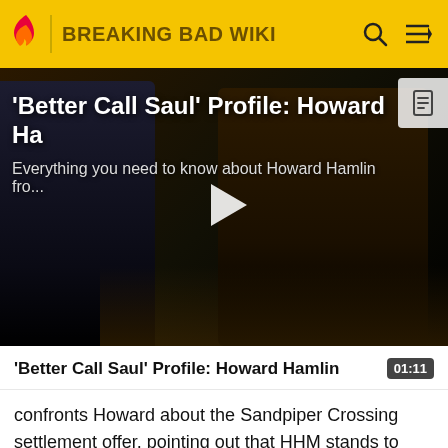BREAKING BAD WIKI
[Figure (screenshot): Video thumbnail showing two people in dark suits facing each other, with a white play button overlay. Title text reads: 'Better Call Saul' Profile: Howard Ha... and subtitle: Everything you need to know about Howard Hamlin fro...]
'Better Call Saul' Profile: Howard Hamlin
confronts Howard about the Sandpiper Crossing settlement offer, pointing out that HHM stands to gain over a few million dollars from the offer that they want to